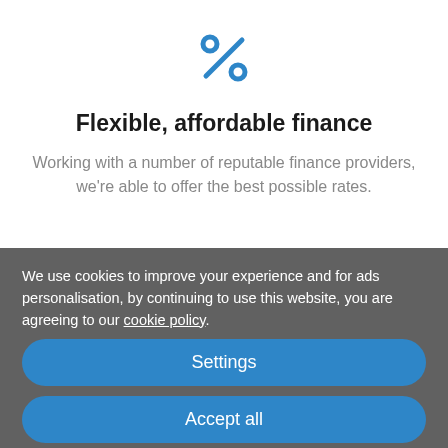[Figure (illustration): Blue percentage sign icon (% symbol) centered at top of white section]
Flexible, affordable finance
Working with a number of reputable finance providers, we're able to offer the best possible rates.
We use cookies to improve your experience and for ads personalisation, by continuing to use this website, you are agreeing to our cookie policy.
Settings
Accept all